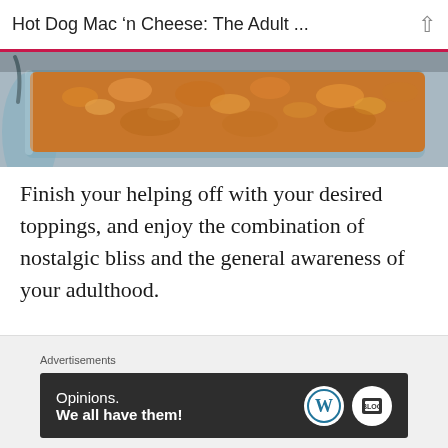Hot Dog Mac ‘n Cheese: The Adult ...
[Figure (photo): Close-up photo of a baked mac and cheese casserole in a glass baking dish, with a golden breadcrumb topping]
Finish your helping off with your desired toppings, and enjoy the combination of nostalgic bliss and the general awareness of your adulthood.
Advertisements
[Figure (screenshot): Blue advertisement banner with three circular building/store icons on a light blue background with sparkle decorations]
[Figure (screenshot): Dark advertisement banner reading: Opinions. We all have them! with WordPress and another logo]
Advertisements